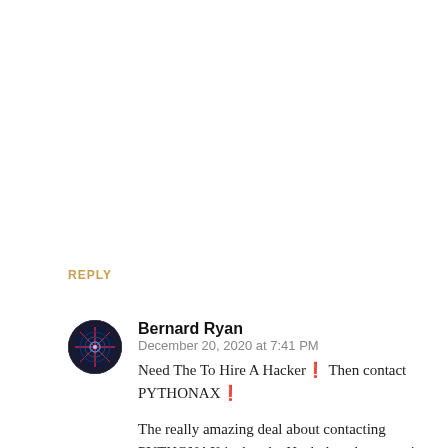REPLY
Bernard Ryan  December 20, 2020 at 7:41 PM
Need The To Hire A Hacker❗ Then contact PYTHONAX❗

The really amazing deal about contacting PYTHONAX is that the Hack done by us can't get traced to you, as every Hacking job we do is strongly protected by our Firewall. It's like